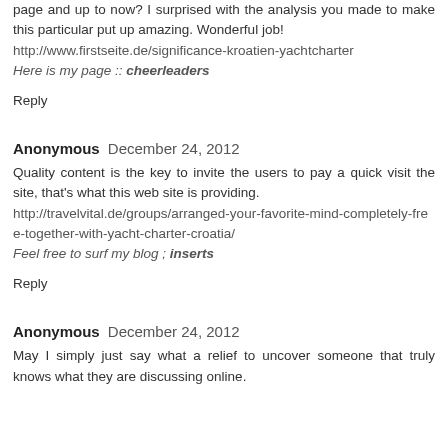page and up to now? I surprised with the analysis you made to make this particular put up amazing. Wonderful job!
http://www.firstseite.de/significance-kroatien-yachtcharter
Here is my page :: cheerleaders
Reply
Anonymous  December 24, 2012
Quality content is the key to invite the users to pay a quick visit the site, that's what this web site is providing.
http://travelvital.de/groups/arranged-your-favorite-mind-completely-free-together-with-yacht-charter-croatia/
Feel free to surf my blog ; inserts
Reply
Anonymous  December 24, 2012
May I simply just say what a relief to uncover someone that truly knows what they are discussing online.